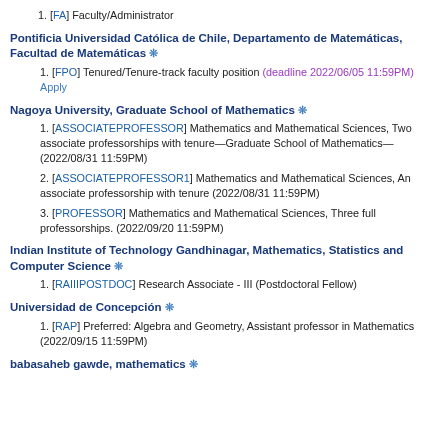1. [FA] Faculty/Administrator
Pontificia Universidad Católica de Chile, Departamento de Matemáticas, Facultad de Matemáticas ❊
1. [FPO] Tenured/Tenure-track faculty position (deadline 2022/06/05 11:59PM)   Apply
Nagoya University, Graduate School of Mathematics ❊
1. [ASSOCIATEPROFESSOR] Mathematics and Mathematical Sciences, Two associate professorships with tenure—Graduate School of Mathematics— (2022/08/31 11:59PM)
2. [ASSOCIATEPROFESSOR1] Mathematics and Mathematical Sciences, An associate professorship with tenure (2022/08/31 11:59PM)
3. [PROFESSOR] Mathematics and Mathematical Sciences, Three full professorships. (2022/09/20 11:59PM)
Indian Institute of Technology Gandhinagar, Mathematics, Statistics and Computer Science ❊
1. [RAIIIPOSTDOC] Research Associate - III (Postdoctoral Fellow)
Universidad de Concepción ❊
1. [RAP] Preferred: Algebra and Geometry, Assistant professor in Mathematics (2022/09/15 11:59PM)
babasaheb gawde, mathematics ❊